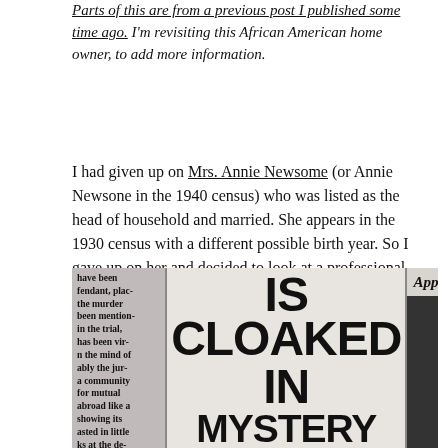Parts of this are from a previous post I published some time ago. I'm revisiting this African American home owner, to add more information.
I had given up on Mrs. Annie Newsome (or Annie Newsone in the 1940 census) who was listed as the head of household and married. She appears in the 1930 census with a different possible birth year. So I gave up on her and decided to look at a professional man who might have more information about him.
[Figure (photo): A newspaper clipping showing bold headline text 'ACTION IS CLOAKED IN MYSTERY' in the center column, with smaller body text on the left column partially visible, and a dark portrait photo partially visible on the right.]